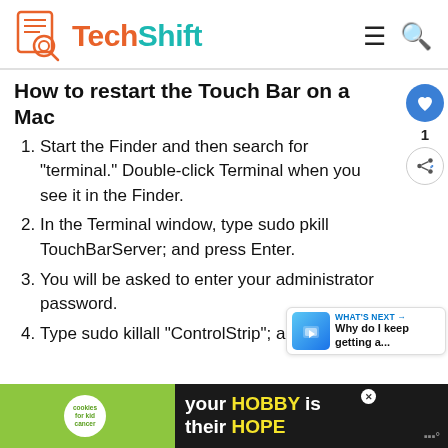TechShift
How to restart the Touch Bar on a Mac
Start the Finder and then search for "terminal." Double-click Terminal when you see it in the Finder.
In the Terminal window, type sudo pkill TouchBarServer; and press Enter.
You will be asked to enter your administrator password.
Type sudo killall "ControlStrip"; and
[Figure (screenshot): WHAT'S NEXT promo: Why do I keep getting a...]
[Figure (screenshot): Advertisement banner: cookies for kid cancer - your HOBBY is their HOPE]